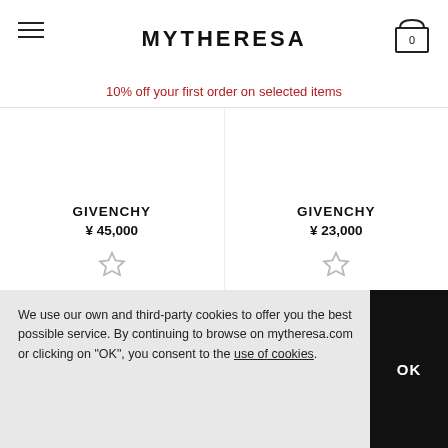MYTHERESA
10% off your first order on selected items
[Figure (other): Product listing card for GIVENCHY item, ¥ 45,000, with wishlist star icon]
[Figure (other): Product listing card for GIVENCHY item, ¥ 23,000, with wishlist star icon]
We use our own and third-party cookies to offer you the best possible service. By continuing to browse on mytheresa.com or clicking on "OK", you consent to the use of cookies.